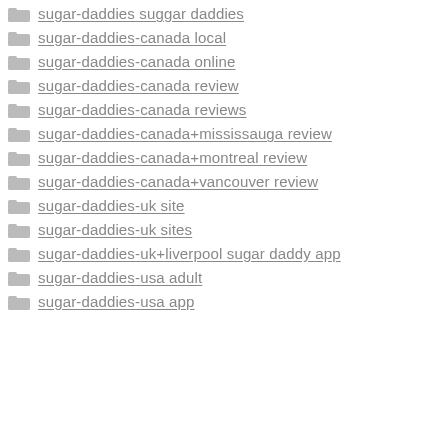sugar-daddies suggar daddies
sugar-daddies-canada local
sugar-daddies-canada online
sugar-daddies-canada review
sugar-daddies-canada reviews
sugar-daddies-canada+mississauga review
sugar-daddies-canada+montreal review
sugar-daddies-canada+vancouver review
sugar-daddies-uk site
sugar-daddies-uk sites
sugar-daddies-uk+liverpool sugar daddy app
sugar-daddies-usa adult
sugar-daddies-usa app